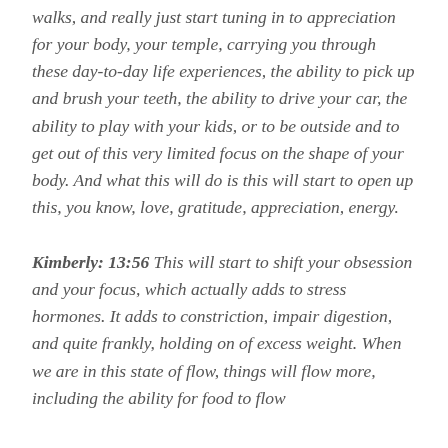walks, and really just start tuning in to appreciation for your body, your temple, carrying you through these day-to-day life experiences, the ability to pick up and brush your teeth, the ability to drive your car, the ability to play with your kids, or to be outside and to get out of this very limited focus on the shape of your body. And what this will do is this will start to open up this, you know, love, gratitude, appreciation, energy.
Kimberly: 13:56 This will start to shift your obsession and your focus, which actually adds to stress hormones. It adds to constriction, impair digestion, and quite frankly, holding on of excess weight. When we are in this state of flow, things will flow more, including the ability for food to flow through and the ability to process and release it.